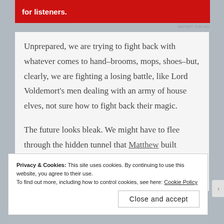[Figure (other): Red advertisement banner for Pocket Casts podcast app with white text 'for listeners.' and phone image]
REPORT THIS AD
Unprepared, we are trying to fight back with whatever comes to hand–brooms, mops, shoes–but, clearly, we are fighting a losing battle, like Lord Voldemort's men dealing with an army of house elves, not sure how to fight back their magic.
The future looks bleak. We might have to flee through the hidden tunnel that Matthew built earlier this year (that is, if it is not already sealed by the spiders)–and leave the house to the rebels.
Privacy & Cookies: This site uses cookies. By continuing to use this website, you agree to their use.
To find out more, including how to control cookies, see here: Cookie Policy
Close and accept